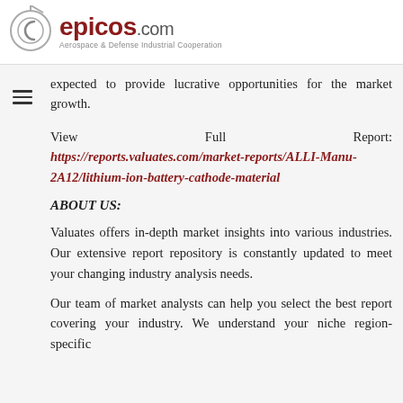epicos.com — Aerospace & Defense Industrial Cooperation
expected to provide lucrative opportunities for the market growth.
View Full Report: https://reports.valuates.com/market-reports/ALLI-Manu-2A12/lithium-ion-battery-cathode-material
ABOUT US:
Valuates offers in-depth market insights into various industries. Our extensive report repository is constantly updated to meet your changing industry analysis needs.
Our team of market analysts can help you select the best report covering your industry. We understand your niche region-specific